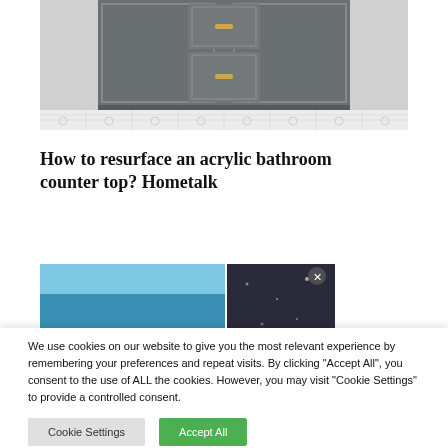[Figure (photo): Photo of gray bathroom vanity cabinet with gold hardware and patterned tile floor, viewed from below]
How to resurface an acrylic bathroom counter top? Hometalk
[Figure (photo): Two partial thumbnail images: left shows blue painted surface, right shows dark sparkly material with x button]
We use cookies on our website to give you the most relevant experience by remembering your preferences and repeat visits. By clicking "Accept All", you consent to the use of ALL the cookies. However, you may visit "Cookie Settings" to provide a controlled consent.